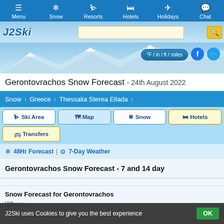Menu | Snow | Resorts | Hotels | Holidays | Chat
[Figure (screenshot): J2Ski logo and search bar with mountain background]
Gerontovrachos Snow Forecast - 24th August 2022
Snow > Greece > Thessalia Sterea Ellada
Ski Area | Map | Snow | Hotels
Transfers
48Hr Forecast | 7-Day Weather
Gerontovrachos Snow Forecast - 7 and 14 day
Snow Forecast for Gerontovrachos
J2Ski uses Cookies to give you the best experience